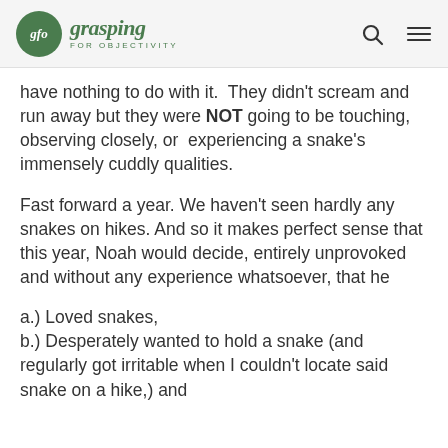gfo grasping FOR OBJECTIVITY
have nothing to do with it.  They didn't scream and run away but they were NOT going to be touching, observing closely, or  experiencing a snake's immensely cuddly qualities.
Fast forward a year. We haven't seen hardly any snakes on hikes. And so it makes perfect sense that this year, Noah would decide, entirely unprovoked and without any experience whatsoever, that he
a.) Loved snakes,
b.) Desperately wanted to hold a snake (and regularly got irritable when I couldn't locate said snake on a hike,) and